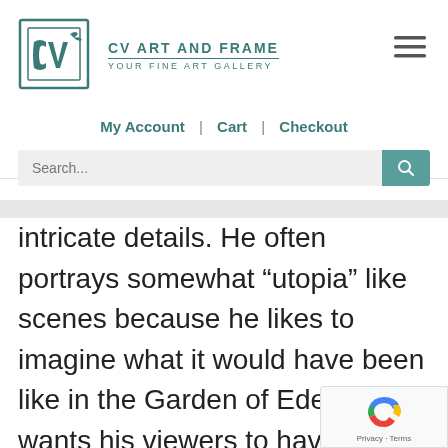[Figure (logo): CV Art and Frame logo with stylized CV letters in a frame shape, teal colored text reading CV ART AND FRAME / YOUR FINE ART GALLERY]
My Account | Cart | Checkout
Search...
intricate details. He often portrays somewhat “utopia” like scenes because he likes to imagine what it would have been like in the Garden of Eden and wants his viewers to have an encounter with a world lacking death and turmo